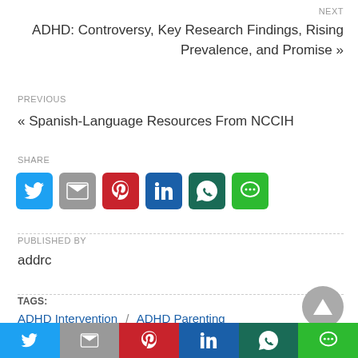NEXT
ADHD: Controversy, Key Research Findings, Rising Prevalence, and Promise »
PREVIOUS
« Spanish-Language Resources From NCCIH
SHARE
[Figure (infographic): Social share icons: Twitter, Gmail, Pinterest, LinkedIn, WhatsApp, Line]
PUBLISHED BY
addrc
TAGS:
ADHD Intervention  /  ADHD Parenting
[Figure (infographic): Bottom social share bar with Twitter, Gmail, Pinterest, LinkedIn, WhatsApp, Line icons]